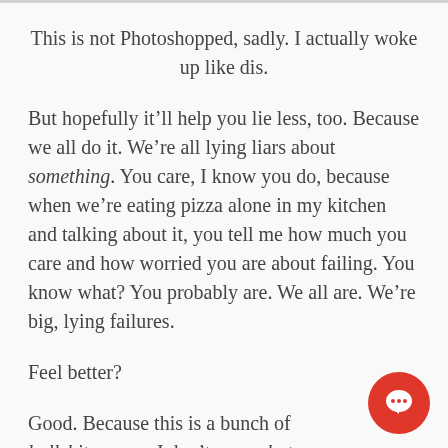This is not Photoshopped, sadly. I actually woke up like dis.
But hopefully it’ll help you lie less, too. Because we all do it. We’re all lying liars about something. You care, I know you do, because when we’re eating pizza alone in my kitchen and talking about it, you tell me how much you care and how worried you are about failing. You know what? You probably are. We all are. We’re big, lying failures.
Feel better?
Good. Because this is a bunch of bullshit, mama. I don’t care what yo… as much as Denise said the other da…